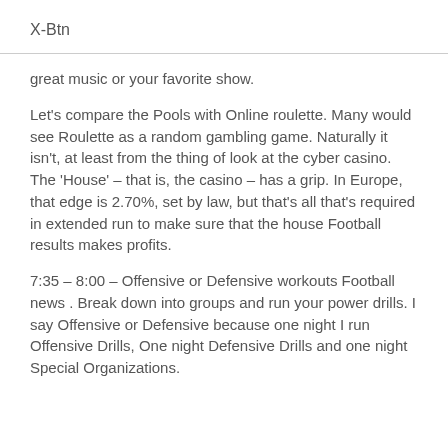X-Btn
great music or your favorite show.
Let's compare the Pools with Online roulette. Many would see Roulette as a random gambling game. Naturally it isn't, at least from the thing of look at the cyber casino. The 'House' – that is, the casino – has a grip. In Europe, that edge is 2.70%, set by law, but that's all that's required in extended run to make sure that the house Football results makes profits.
7:35 – 8:00 – Offensive or Defensive workouts Football news . Break down into groups and run your power drills. I say Offensive or Defensive because one night I run Offensive Drills, One night Defensive Drills and one night Special Organizations.